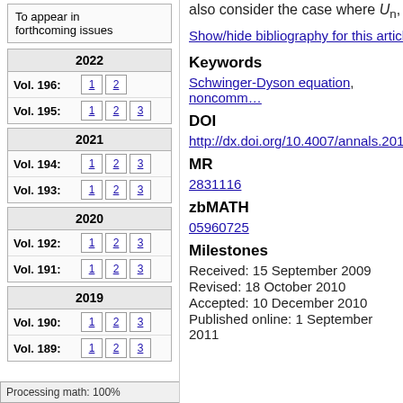To appear in forthcoming issues
2022
Vol. 196: 1 2
Vol. 195: 1 2 3
2021
Vol. 194: 1 2 3
Vol. 193: 1 2 3
2020
Vol. 192: 1 2 3
Vol. 191: 1 2 3
2019
Vol. 190: 1 2 3
Vol. 189: 1 2 3
Processing math: 100%
also consider the case where U_n, V_n a…
Show/hide bibliography for this article
Keywords
Schwinger-Dyson equation, noncomm…
DOI
http://dx.doi.org/10.4007/annals.2011.…
MR
2831116
zbMATH
05960725
Milestones
Received: 15 September 2009
Revised: 18 October 2010
Accepted: 10 December 2010
Published online: 1 September 2011